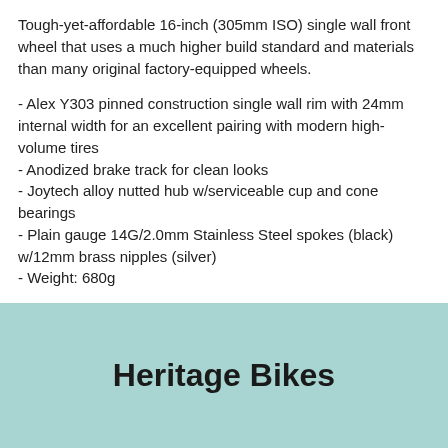Tough-yet-affordable 16-inch (305mm ISO) single wall front wheel that uses a much higher build standard and materials than many original factory-equipped wheels.
- Alex Y303 pinned construction single wall rim with 24mm internal width for an excellent pairing with modern high-volume tires
- Anodized brake track for clean looks
- Joytech alloy nutted hub w/serviceable cup and cone bearings
- Plain gauge 14G/2.0mm Stainless Steel spokes (black) w/12mm brass nipples (silver)
- Weight: 680g
Heritage Bikes